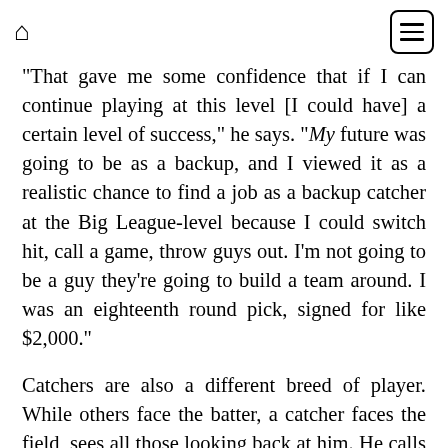[home icon] [menu button]
"That gave me some confidence that if I can continue playing at this level [I could have] a certain level of success," he says. "My future was going to be as a backup, and I viewed it as a realistic chance to find a job as a backup catcher at the Big League-level because I could switch hit, call a game, throw guys out. I'm not going to be a guy they're going to build a team around. I was an eighteenth round pick, signed for like $2,000."
Catchers are also a different breed of player. While others face the batter, a catcher faces the field, sees all those looking back at him. He calls the game, becomes an extension of the manager, takes a lot of the heat. He counts…